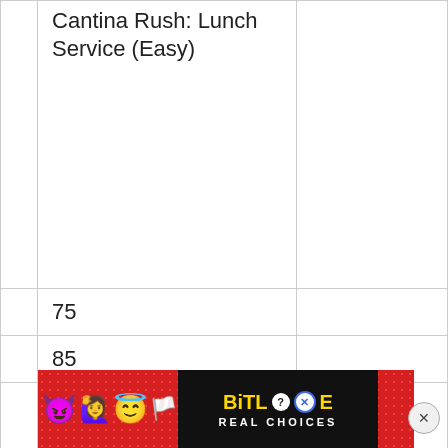|  | Cantina Rush: Lunch Service (Easy) |  |
|  | 75 |  |
|  | 85 |  |
|  | One round, deliver 25 dishes, maximum of 5 failures |  |
|  | P... R... |  |
[Figure (other): Advertisement banner for BitLife game: red background with emoji characters (devil, woman with raised hands, angel face, sperm), BitLife logo in yellow on black background, 'REAL CHOICES' text, question mark and X icons, close button circle with X]